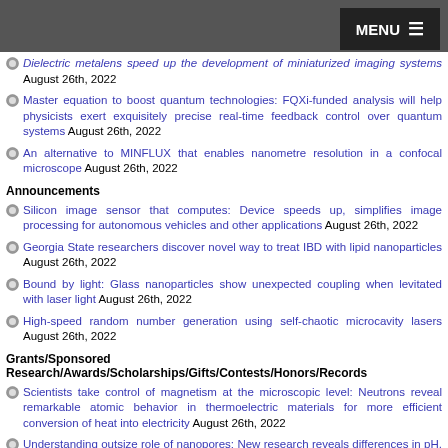MENU
Dielectric metalens speed up the development of miniaturized imaging systems August 26th, 2022
Master equation to boost quantum technologies: FQXi-funded analysis will help physicists exert exquisitely precise real-time feedback control over quantum systems August 26th, 2022
An alternative to MINFLUX that enables nanometre resolution in a confocal microscope August 26th, 2022
Announcements
Silicon image sensor that computes: Device speeds up, simplifies image processing for autonomous vehicles and other applications August 26th, 2022
Georgia State researchers discover novel way to treat IBD with lipid nanoparticles August 26th, 2022
Bound by light: Glass nanoparticles show unexpected coupling when levitated with laser light August 26th, 2022
High-speed random number generation using self-chaotic microcavity lasers August 26th, 2022
Grants/Sponsored Research/Awards/Scholarships/Gifts/Contests/Honors/Records
Scientists take control of magnetism at the microscopic level: Neutrons reveal remarkable atomic behavior in thermoelectric materials for more efficient conversion of heat into electricity August 26th, 2022
Understanding outsize role of nanopores: New research reveals differences in pH, and more, about these previously mysterious environments August 26th, 2022
New chip ramps up AI computing efficiency August 19th, 2022